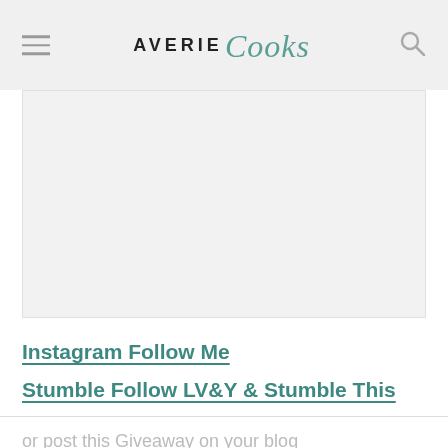AVERIE Cooks
[Figure (other): Large image placeholder area with light gray background]
Instagram Follow Me
Stumble Follow LV&Y & Stumble This
or post this Giveaway on your blog